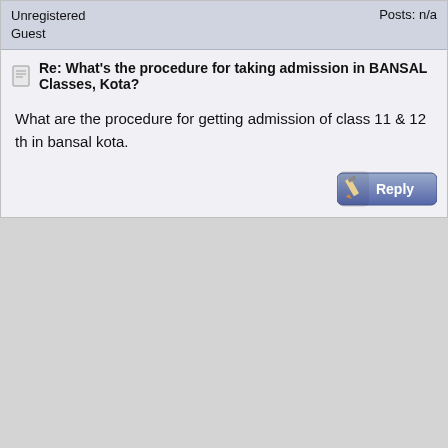Unregistered
Guest
Posts: n/a
Re: What's the procedure for taking admission in BANSAL Classes, Kota?
What are the procedure for getting admission of class 11 & 12 th in bansal kota.